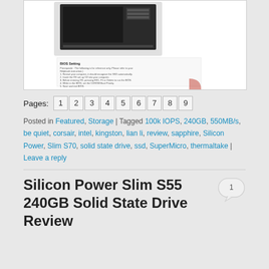[Figure (photo): Photo of SSD drive manual/booklet showing BIOS Setting instructions]
Pages: 1 2 3 4 5 6 7 8 9
Posted in Featured, Storage | Tagged 100k IOPS, 240GB, 550MB/s, be quiet, corsair, intel, kingston, lian li, review, sapphire, Silicon Power, Slim S70, solid state drive, ssd, SuperMicro, thermaltake | Leave a reply
Silicon Power Slim S55 240GB Solid State Drive Review